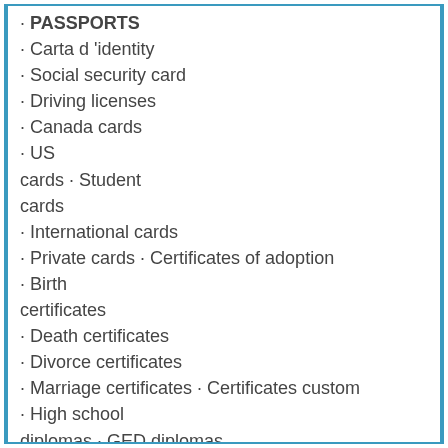• PASSPORTS
• Carta d 'identity
• Social security card
• Driving licenses
• Canada cards
• US cards • Student cards
• International cards
• Private cards • Certificates of adoption
• Birth certificates
• Death certificates
• Divorce certificates
• Marriage certificates • Certificates custom
• High school diplomas • GED diplomas
• Domestic school diplomas • University diplomas • University diplomas
• Commercial skills certificates
• Validate the SSN number
• green papers from the United States